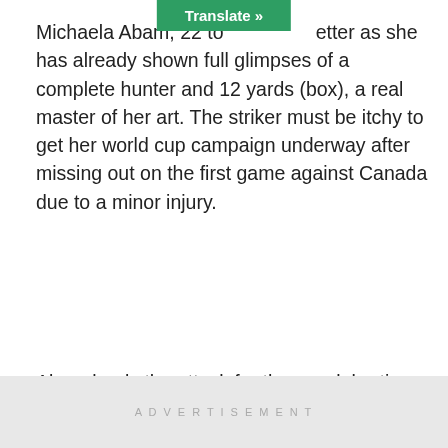[Figure (other): Green 'Translate »' button overlay at top center of page]
Michaela Abam, 22 to [obscured by translate button] etter as she has already shown full glimpses of a complete hunter and 12 yards (box), a real master of her art. The striker must be itchy to get her world cup campaign underway after missing out on the first game against Canada due to a minor injury.
Abam leads the attack for those celebrating their birthdays
ADVERTISEMENT